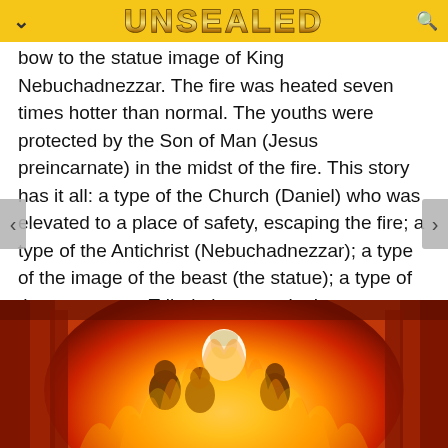UNSEALED
bow to the statue image of King Nebuchadnezzar. The fire was heated seven times hotter than normal. The youths were protected by the Son of Man (Jesus preincarnate) in the midst of the fire. This story has it all: a type of the Church (Daniel) who was elevated to a place of safety, escaping the fire; a type of the Antichrist (Nebuchadnezzar); a type of the image of the beast (the statue); a type of the seven-year Tribulation seen in the seven-times-hotter fire; and a type of the Jewish nation protected in the midst of the Tribulation (the three Hebrews preserved in the fire).
[Figure (illustration): A painting depicting figures in fire — three Hebrews and the Son of Man in the fiery furnace, shown with warm red, orange, and yellow tones.]